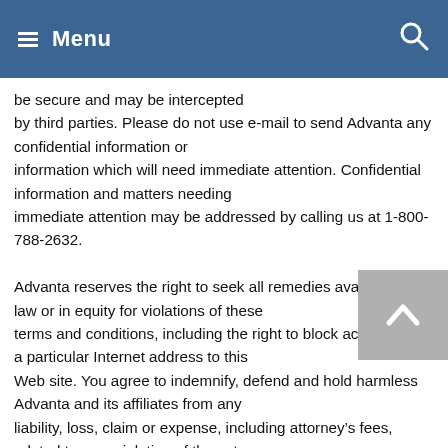Menu
be secure and may be intercepted by third parties. Please do not use e-mail to send Advanta any confidential information or information which will need immediate attention. Confidential information and matters needing immediate attention may be addressed by calling us at 1-800-788-2632.

Advanta reserves the right to seek all remedies available at law or in equity for violations of these terms and conditions, including the right to block access from a particular Internet address to this Web site. You agree to indemnify, defend and hold harmless Advanta and its affiliates from any liability, loss, claim or expense, including attorney’s fees, related to your violation of these terms and conditions or your use of the services and information provided at this Web site.

Updated May 2008

©2000-08 Advanta Corp., All rights reserved. Advanta and the